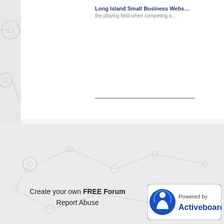Long Island Small Business Webs... the playing field when competing a...
Create your own FREE Forum
Report Abuse
[Figure (logo): Powered by Activeboard logo badge with blue circular icon]